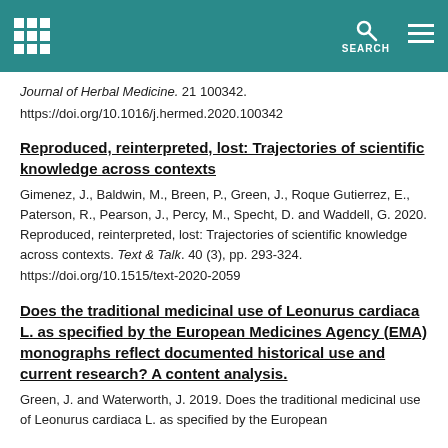[ grid icon ] SEARCH [ menu icon ]
Journal of Herbal Medicine. 21 100342.
https://doi.org/10.1016/j.hermed.2020.100342
Reproduced, reinterpreted, lost: Trajectories of scientific knowledge across contexts
Gimenez, J., Baldwin, M., Breen, P., Green, J., Roque Gutierrez, E., Paterson, R., Pearson, J., Percy, M., Specht, D. and Waddell, G. 2020. Reproduced, reinterpreted, lost: Trajectories of scientific knowledge across contexts. Text & Talk. 40 (3), pp. 293-324. https://doi.org/10.1515/text-2020-2059
Does the traditional medicinal use of Leonurus cardiaca L. as specified by the European Medicines Agency (EMA) monographs reflect documented historical use and current research? A content analysis.
Green, J. and Waterworth, J. 2019. Does the traditional medicinal use of Leonurus cardiaca L. as specified by the European